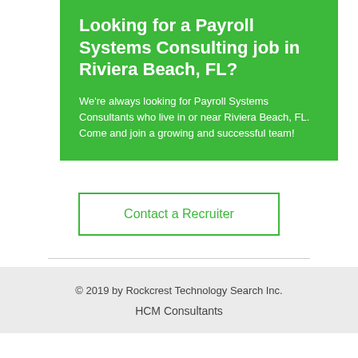Looking for a Payroll Systems Consulting job in Riviera Beach, FL?
We're always looking for Payroll Systems Consultants who live in or near Riviera Beach, FL. Come and join a growing and successful team!
Contact a Recruiter
© 2019 by Rockcrest Technology Search Inc.
HCM Consultants